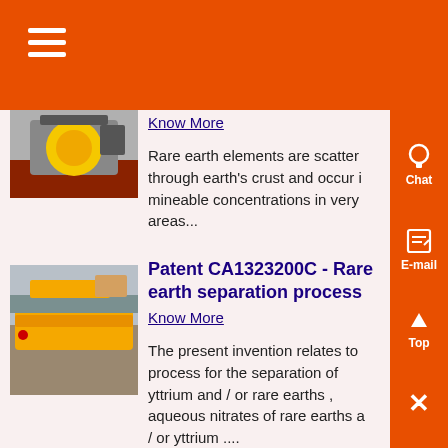Menu (hamburger icon)
[Figure (photo): Yellow device/meter on machinery, red background]
Know More
Rare earth elements are scattered through earth's crust and occur in mineable concentrations in very few areas...
[Figure (photo): Yellow industrial equipment/conveyor on a worksite]
Patent CA1323200C - Rare earth separation process
Know More
The present invention relates to a process for the separation of yttrium and / or rare earths , aqueous nitrates of rare earths and / or yttrium ....